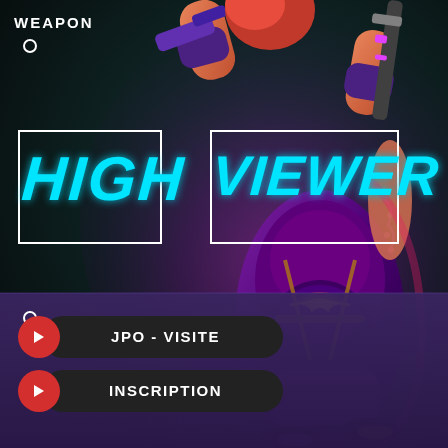[Figure (illustration): A colorful video game character (female) in futuristic purple armor holding weapons, set against a dark teal/green background with glowing accents. The scene is a promotional/gaming image.]
WEAPON
HIGH VIEWER
JPO - VISITE
INSCRIPTION